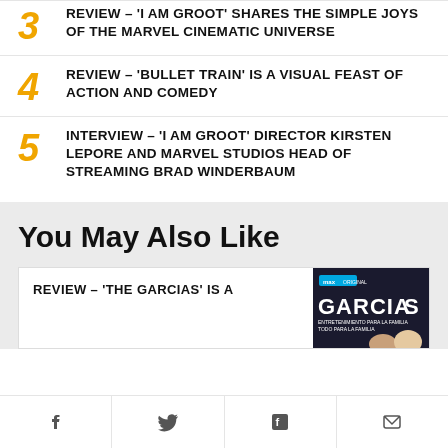3 REVIEW – 'I AM GROOT' SHARES THE SIMPLE JOYS OF THE MARVEL CINEMATIC UNIVERSE
4 REVIEW – 'BULLET TRAIN' IS A VISUAL FEAST OF ACTION AND COMEDY
5 INTERVIEW – 'I AM GROOT' DIRECTOR KIRSTEN LEPORE AND MARVEL STUDIOS HEAD OF STREAMING BRAD WINDERBAUM
You May Also Like
REVIEW – 'THE GARCIAS' IS A
[Figure (photo): Max Original 'Garcias' promotional image showing the show title and cast]